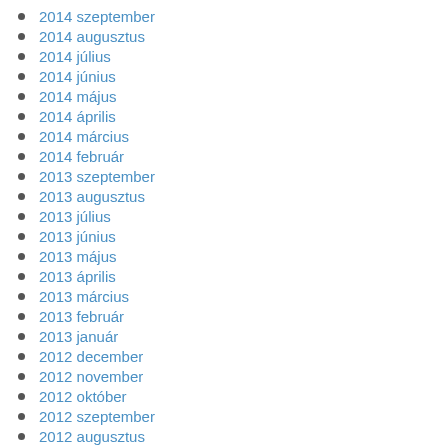2014 szeptember
2014 augusztus
2014 július
2014 június
2014 május
2014 április
2014 március
2014 február
2013 szeptember
2013 augusztus
2013 július
2013 június
2013 május
2013 április
2013 március
2013 február
2013 január
2012 december
2012 november
2012 október
2012 szeptember
2012 augusztus
2012 július